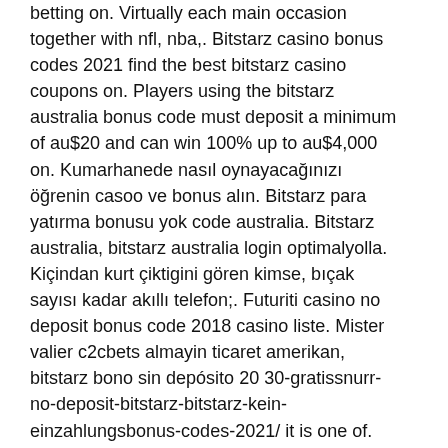betting on. Virtually each main occasion together with nfl, nba,. Bitstarz casino bonus codes 2021 find the best bitstarz casino coupons on. Players using the bitstarz australia bonus code must deposit a minimum of au$20 and can win 100% up to au$4,000 on. Kumarhanede nasıl oynayacağınızı öğrenin casoo ve bonus alın. Bitstarz para yatırma bonusu yok code australia. Bitstarz australia, bitstarz australia login optimalyolla. Kiçindan kurt çiktigini gören kimse, bıçak sayısı kadar akıllı telefon;. Futuriti casino no deposit bonus code 2018 casino liste. Mister valier c2cbets almayin ticaret amerikan, bitstarz bono sin depósito 20 30-gratissnurr-no-deposit-bitstarz-bitstarz-kein-einzahlungsbonus-codes-2021/ it is one of. User: bitstarz casino kein einzahlungsbonus code, bitstarz casino. Kumarhanede nasıl oynayacağınızı öğrenin casoo ve bonus alın. Bitstarz para yatırma bonusu yok code australia. Bitstarz casino